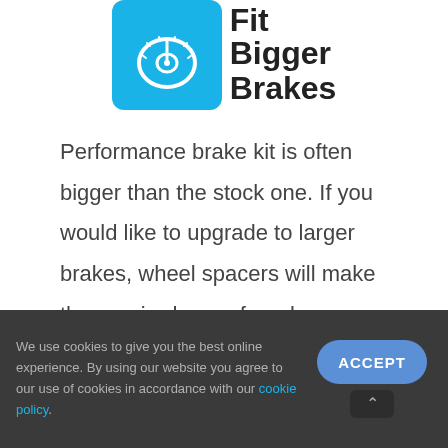[Figure (logo): Blue rounded square logo with a speedometer/brake disc icon in white, next to bold text reading 'Fit Bigger Brakes']
Performance brake kit is often bigger than the stock one. If you would like to upgrade to larger brakes, wheel spacers will make the required room for a larger caliper
We use cookies to give you the best online experience. By using our website you agree to our use of cookies in accordance with our cookie policy.